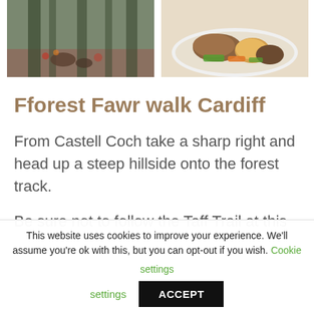[Figure (photo): Left photo: outdoor scene with stone ground, fallen leaves, and boot near wooden fence/bamboo]
[Figure (photo): Right photo: plate of food — roast dinner with meat, roast potatoes, vegetables (carrots, peas)]
Fforest Fawr walk Cardiff
From Castell Coch take a sharp right and head up a steep hillside onto the forest track.
Be sure not to follow the Taff Trail at this
This website uses cookies to improve your experience. We'll assume you're ok with this, but you can opt-out if you wish. Cookie settings ACCEPT